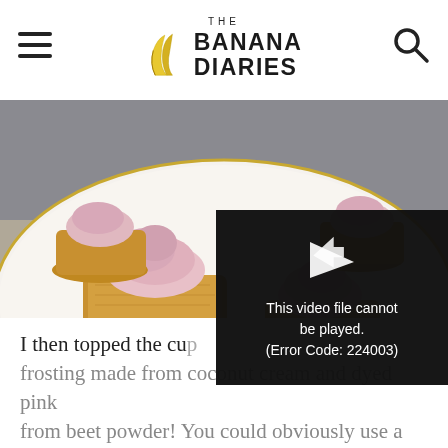THE BANANA DIARIES
[Figure (photo): Mini oat cupcakes with pink coconut cream frosting on a white plate, styled food photography]
[Figure (screenshot): Video player error overlay: play arrow icon and text 'This video file cannot be played. (Error Code: 224003)']
I then topped the cu frosting made from coconut cream and dyed pink from beet powder! You could obviously use a